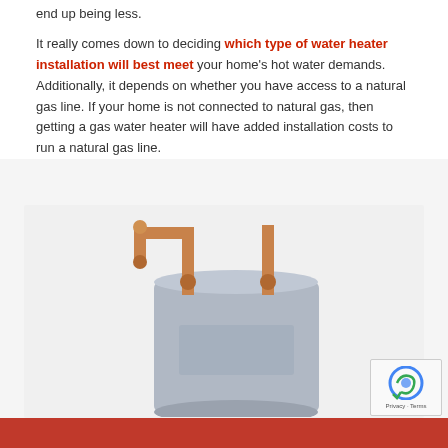end up being less.
It really comes down to deciding which type of water heater installation will best meet your home's hot water demands. Additionally, it depends on whether you have access to a natural gas line. If your home is not connected to natural gas, then getting a gas water heater will have added installation costs to run a natural gas line.
[Figure (photo): A water heater tank (grey cylindrical tank) with copper pipes connected at the top, shown on a white background.]